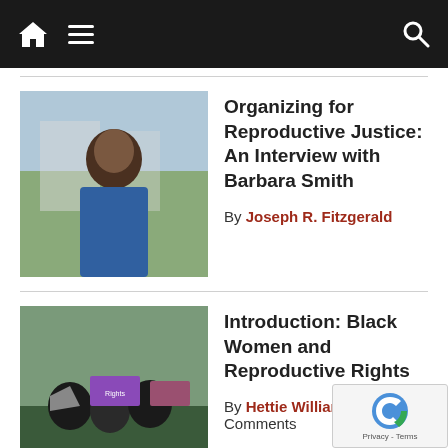Navigation bar with home icon, hamburger menu, and search icon
Organizing for Reproductive Justice: An Interview with Barbara Smith
By Joseph R. Fitzgerald
Introduction: Black Women and Reproductive Rights
By Hettie Williams | 4 Comments
Comments
Each author's posts reflect their own views and not nece those of the African American Intellectual History Society AAIHS welcomes comments on and vigorous discussion about